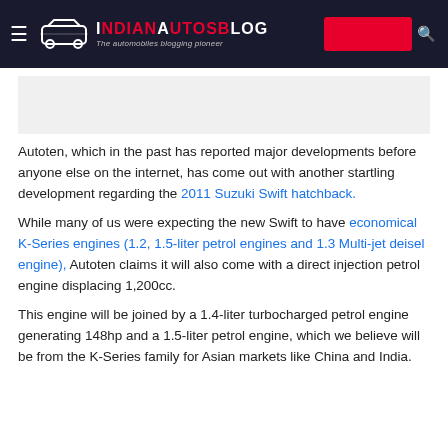IndianAutosBlog — The automobiles blogging pioneer
Autoten, which in the past has reported major developments before anyone else on the internet, has come out with another startling development regarding the 2011 Suzuki Swift hatchback.
While many of us were expecting the new Swift to have economical K-Series engines (1.2, 1.5-liter petrol engines and 1.3 Multi-jet deisel engine), Autoten claims it will also come with a direct injection petrol engine displacing 1,200cc.
This engine will be joined by a 1.4-liter turbocharged petrol engine generating 148hp and a 1.5-liter petrol engine, which we believe will be from the K-Series family for Asian markets like China and India.